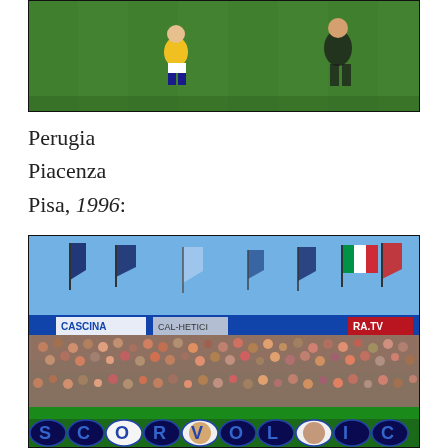[Figure (photo): A football/soccer match scene on a green pitch. A player in a yellow jersey is visible in the center-left, another figure is on the right side of the frame.]
Perugia
Piacenza
Pisa, 1996:
[Figure (photo): A packed football stadium crowd scene from 1996. Flags are visible waving above the crowd against a blue sky. A banner reading 'CASCINA' is visible along with other advertising boards. At the bottom of the image is a large banner with stylized letters reading 'SCORVOL' (partially visible), featuring decorative circular motifs with faces/portraits.]